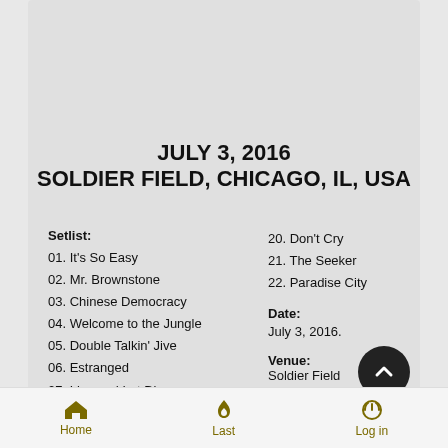JULY 3, 2016
SOLDIER FIELD, CHICAGO, IL, USA
Setlist:
01. It's So Easy
02. Mr. Brownstone
03. Chinese Democracy
04. Welcome to the Jungle
05. Double Talkin' Jive
06. Estranged
07. Live and Let Die
20. Don't Cry
21. The Seeker
22. Paradise City
Date: July 3, 2016.
Venue: Soldier Field
Home  Last  Log in